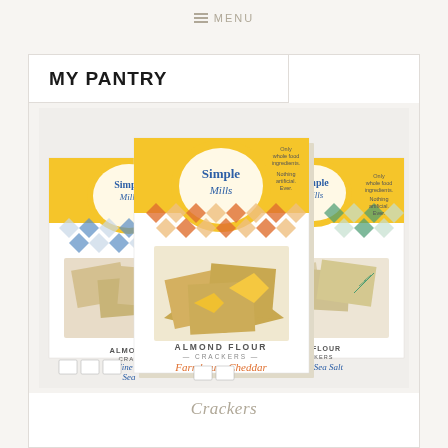MENU
MY PANTRY
[Figure (photo): Three boxes of Simple Mills Almond Flour Crackers: Fine Ground Sea Salt (left, blue diamond pattern), Farmhouse Cheddar (center, orange/gold diamond pattern, shown largest in foreground), and Rosemary & Sea Salt (right, green diamond pattern). Each box shows crackers and the Simple Mills logo with a sunburst design.]
Crackers